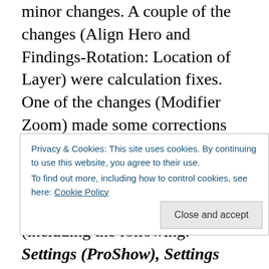minor changes. A couple of the changes (Align Hero and Findings-Rotation: Location of Layer) were calculation fixes. One of the changes (Modifier Zoom) made some corrections that trapped errors from appearing (in general) and adjusted for some rare conditions.
An additional section was added to the Quadratic/Linear function which displays 11 time increments for a user selected increment and specific start time. This can be useful when needing some specific information around a start or end time value so you can get the exact equation value you need quicker and easier than before.
Privacy & Cookies: This site uses cookies. By continuing to use this website, you agree to their use. To find out more, including how to control cookies, see here: Cookie Policy
(including the following: Settings (ProShow), Settings